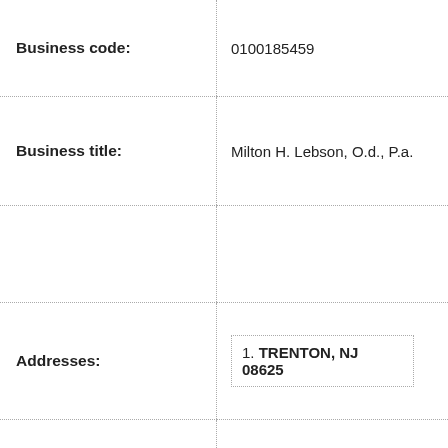| Field | Value |
| --- | --- |
| Business code: | 0100185459 |
| Business title: | Milton H. Lebson, O.d., P.a. |
|  |  |
| Addresses: | 1. TRENTON, NJ 08625 |
| Business form: | 1.    Professional Corporation |
| Contact number: | Click to reveal |